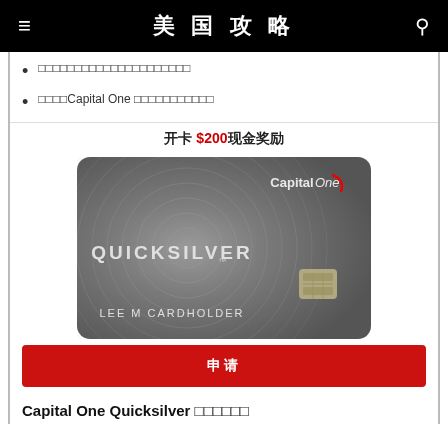美国攻略
□□□□□□□□□□□□□□□□□□□□□
□□□□Capital One □□□□□□□□□□□
开卡 $200现金奖励
[Figure (photo): Capital One Quicksilver credit card image, grey metallic card, text QUICKSILVER and LEE M CARDHOLDER, Capital One logo]
申请
Capital One Quicksilver □□□□□□